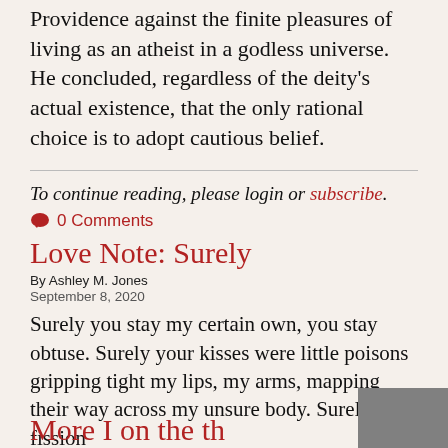Providence against the finite pleasures of living as an atheist in a godless universe. He concluded, regardless of the deity's actual existence, that the only rational choice is to adopt cautious belief.
To continue reading, please login or subscribe.
0 Comments
Love Note: Surely
By Ashley M. Jones
September 8, 2020
Surely you stay my certain own, you stay obtuse. Surely your kisses were little poisons gripping tight my lips, my arms, mapping their way across my unsure body. Surely, this fission
0 Comments
More I on the th